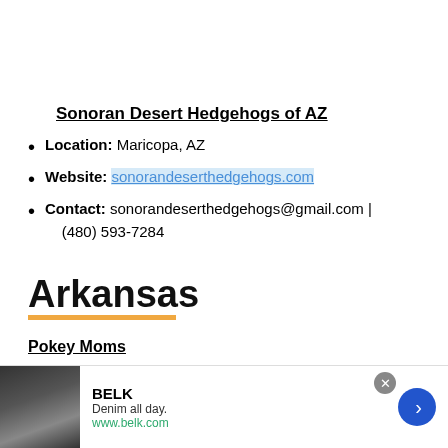Sonoran Desert Hedgehogs of AZ
Location: Maricopa, AZ
Website: sonorandeserthedgehogs.com
Contact: sonorandeserthedgehogs@gmail.com | (480) 593-7284
Arkansas
Pokey Moms
[Figure (screenshot): Advertisement banner for BELK with text 'Denim all day.' and URL www.belk.com, with a close button and navigation arrow]